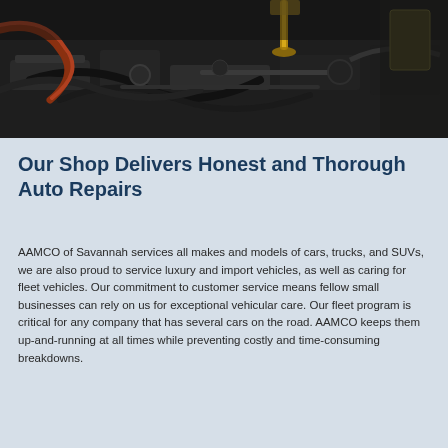[Figure (photo): Close-up photograph of a car engine with oil being poured, dark mechanical components visible]
Our Shop Delivers Honest and Thorough Auto Repairs
AAMCO of Savannah services all makes and models of cars, trucks, and SUVs, we are also proud to service luxury and import vehicles, as well as caring for fleet vehicles. Our commitment to customer service means fellow small businesses can rely on us for exceptional vehicular care. Our fleet program is critical for any company that has several cars on the road. AAMCO keeps them up-and-running at all times while preventing costly and time-consuming breakdowns.